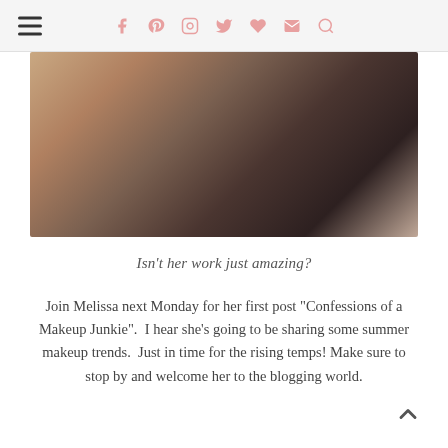Navigation header with hamburger menu and social icons: facebook, pinterest, instagram, twitter, heart, mail, search
[Figure (photo): Close-up blurred photo of a person applying makeup, showing hands near face with dark curly hair visible]
Isn't her work just amazing?
Join Melissa next Monday for her first post "Confessions of a Makeup Junkie".  I hear she's going to be sharing some summer makeup trends.  Just in time for the rising temps! Make sure to stop by and welcome her to the blogging world.